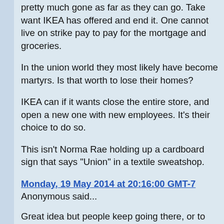pretty much gone as far as they can go. Take want IKEA has offered and end it. One cannot live on strike pay to pay for the mortgage and groceries.
In the union world they most likely have become martyrs. Is that worth to lose their homes?
IKEA can if it wants close the entire store, and open a new one with new employees. It's their choice to do so.
This isn't Norma Rae holding up a cardboard sign that says "Union" in a textile sweatshop.
Monday, 19 May 2014 at 20:16:00 GMT-7
Anonymous said...
Great idea but people keep going there, or to the other store that isn't being picketed. A long time to be opposing big company and sure hope the boss can see reality, a people do have the right to